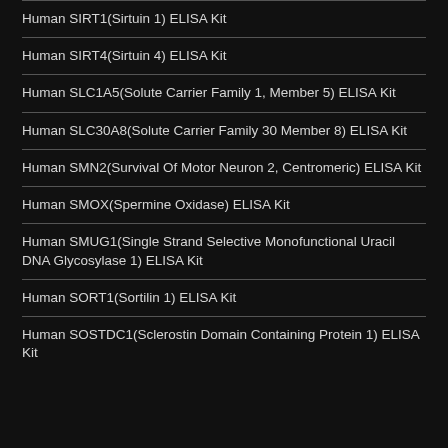Human SIRT1(Sirtuin 1) ELISA Kit
Human SIRT4(Sirtuin 4) ELISA Kit
Human SLC1A5(Solute Carrier Family 1, Member 5) ELISA Kit
Human SLC30A8(Solute Carrier Family 30 Member 8) ELISA Kit
Human SMN2(Survival Of Motor Neuron 2, Centromeric) ELISA Kit
Human SMOX(Spermine Oxidase) ELISA Kit
Human SMUG1(Single Strand Selective Monofunctional Uracil DNA Glycosylase 1) ELISA Kit
Human SORT1(Sortilin 1) ELISA Kit
Human SOSTDC1(Sclerostin Domain Containing Protein 1) ELISA Kit